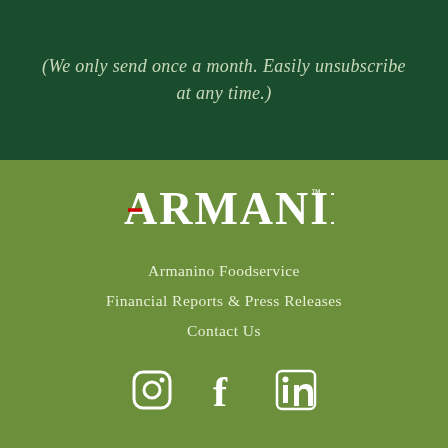(We only send once a month. Easily unsubscribe at any time.)
[Figure (logo): Armanino logo — the word ARMANINO in white capitals with a red stylized A, and a small TM superscript, on a green background]
Armanino Foodservice
Financial Reports & Press Releases
Contact Us
[Figure (other): Social media icons: Instagram, Facebook, LinkedIn — white icons on green background]